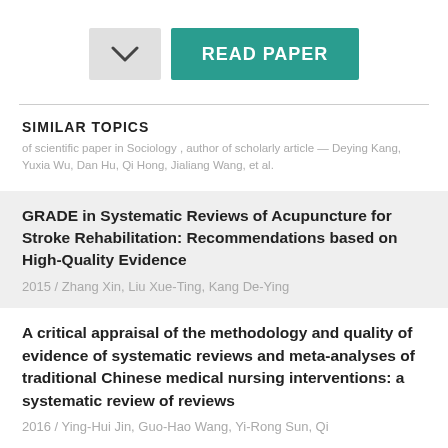[Figure (other): Two buttons side by side: a grey chevron/dropdown button and a teal READ PAPER button]
SIMILAR TOPICS
of scientific paper in Sociology , author of scholarly article — Deying Kang, Yuxia Wu, Dan Hu, Qi Hong, Jialiang Wang, et al.
GRADE in Systematic Reviews of Acupuncture for Stroke Rehabilitation: Recommendations based on High-Quality Evidence
2015 / Zhang Xin, Liu Xue-Ting, Kang De-Ying
A critical appraisal of the methodology and quality of evidence of systematic reviews and meta-analyses of traditional Chinese medical nursing interventions: a systematic review of reviews
2016 / Ying-Hui Jin, Guo-Hao Wang, Yi-Rong Sun, Qi